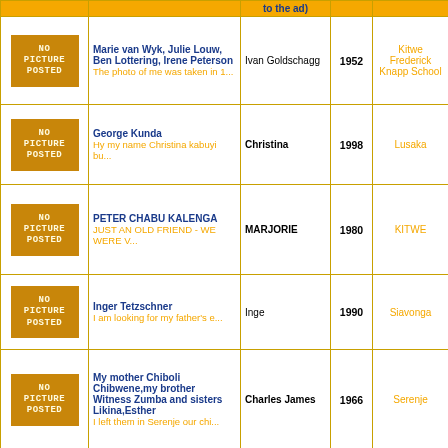| [Photo] | [Name / snippet] | [Looking for / responding to the ad] | [Year] | [Location] |
| --- | --- | --- | --- | --- |
| NO PICTURE POSTED | Marie van Wyk, Julie Louw, Ben Lottering, Irene Peterson
The photo of me was taken in 1... | Ivan Goldschagg | 1952 | Kitwe Frederick Knapp School |
| NO PICTURE POSTED | George Kunda
Hy my name Christina kabuyi bu... | Christina | 1998 | Lusaka |
| NO PICTURE POSTED | PETER CHABU KALENGA
JUST AN OLD FRIEND - WE WERE V... | MARJORIE | 1980 | KITWE |
| NO PICTURE POSTED | Inger Tetzschner
I am looking for my father's e... | Inge | 1990 | Siavonga |
| NO PICTURE POSTED | My mother Chiboli Chibwene,my brother Witness Zumba and sisters Likina,Esther
I left them in Serenje our chi... | Charles James | 1966 | Serenje |